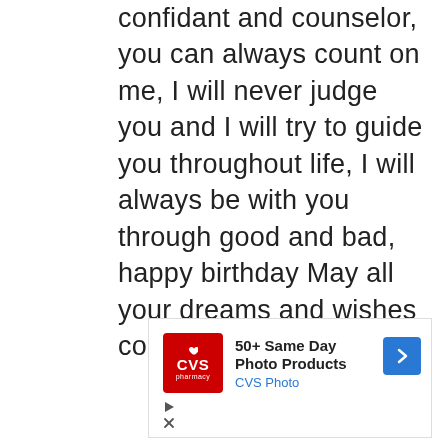confidant and counselor, you can always count on me, I will never judge you and I will try to guide you throughout life, I will always be with you through good and bad, happy birthday May all your dreams and wishes come true.
[Figure (other): CVS Pharmacy advertisement banner showing CVS logo, text '50+ Same Day Photo Products' and 'CVS Photo', with a blue navigation arrow icon, and play/close controls below.]